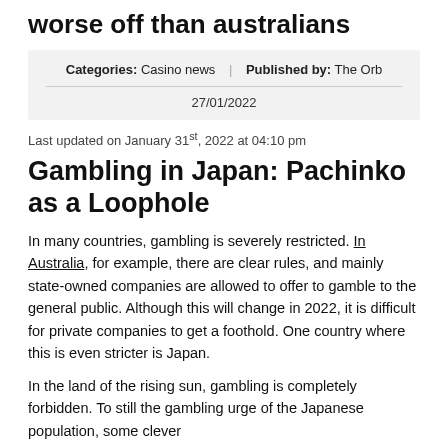worse off than australians
Categories: Casino news | Published by: The Orb
27/01/2022
Last updated on January 31st, 2022 at 04:10 pm
Gambling in Japan: Pachinko as a Loophole
In many countries, gambling is severely restricted. In Australia, for example, there are clear rules, and mainly state-owned companies are allowed to offer to gamble to the general public. Although this will change in 2022, it is difficult for private companies to get a foothold. One country where this is even stricter is Japan.
In the land of the rising sun, gambling is completely forbidden. To still the gambling urge of the Japanese population, some clever